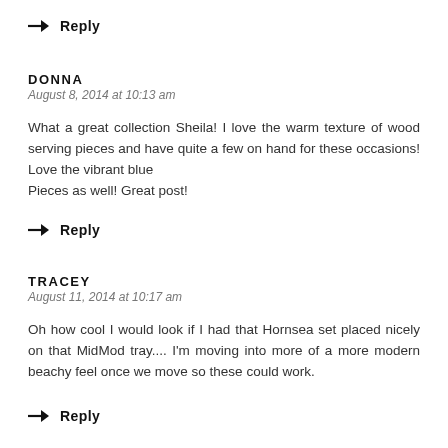→ Reply
DONNA
August 8, 2014 at 10:13 am
What a great collection Sheila! I love the warm texture of wood serving pieces and have quite a few on hand for these occasions! Love the vibrant blue
Pieces as well! Great post!
→ Reply
TRACEY
August 11, 2014 at 10:17 am
Oh how cool I would look if I had that Hornsea set placed nicely on that MidMod tray.... I'm moving into more of a more modern beachy feel once we move so these could work.
→ Reply